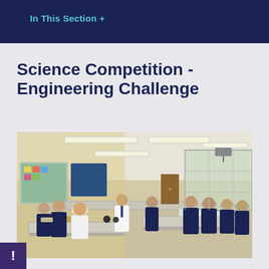In This Section +
Science Competition - Engineering Challenge
[Figure (photo): Students in school uniforms working at laboratory benches in a brightly lit science classroom. A teacher in a white shirt and tie stands among them. The room has yellow walls with displays, fluorescent lighting, a projector mounted on the ceiling, and a whiteboard at the front. Students are engaged in a hands-on engineering challenge activity.]